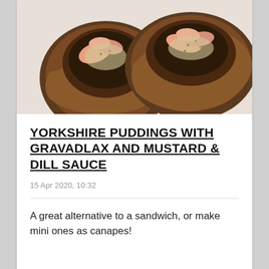[Figure (photo): Close-up photo of two portobello mushroom caps filled with gravadlax salmon pieces and cream cheese with herbs, viewed from above on a light surface.]
YORKSHIRE PUDDINGS WITH GRAVADLAX AND MUSTARD & DILL SAUCE
15 Apr 2020, 10:32
A great alternative to a sandwich, or make mini ones as canapes!